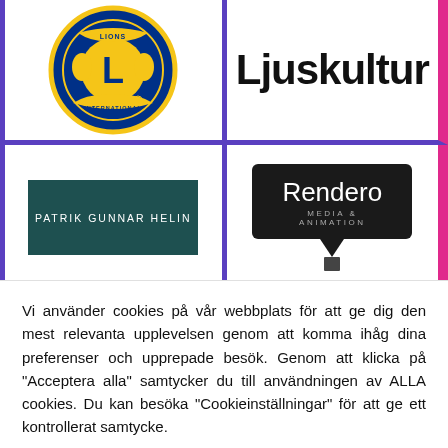[Figure (logo): Lions International logo - circular blue and yellow emblem with lion heads and letter L]
[Figure (logo): Ljuskultur text logo in bold black sans-serif]
[Figure (logo): Patrik Gunnar Helin logo - dark teal rectangle with white spaced capital letters]
[Figure (logo): Rendero Media & Animation logo - white text on dark speech bubble shape]
Vi använder cookies på vår webbplats för att ge dig den mest relevanta upplevelsen genom att komma ihåg dina preferenser och upprepade besök. Genom att klicka på "Acceptera alla" samtycker du till användningen av ALLA cookies. Du kan besöka "Cookieinställningar" för att ge ett kontrollerat samtycke.
Cookieinställningar
Acceptera alla